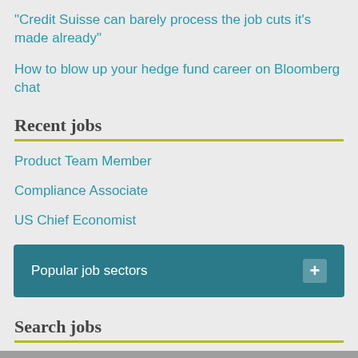"Credit Suisse can barely process the job cuts it's made already"
How to blow up your hedge fund career on Bloomberg chat
Recent jobs
Product Team Member
Compliance Associate
US Chief Economist
[Figure (other): Popular job sectors button with teal background and plus icon]
Search jobs
Job title or keywords